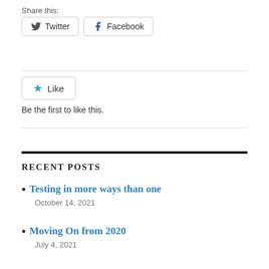Share this:
Twitter  Facebook
Like
Be the first to like this.
RECENT POSTS
Testing in more ways than one
October 14, 2021
Moving On from 2020
July 4, 2021